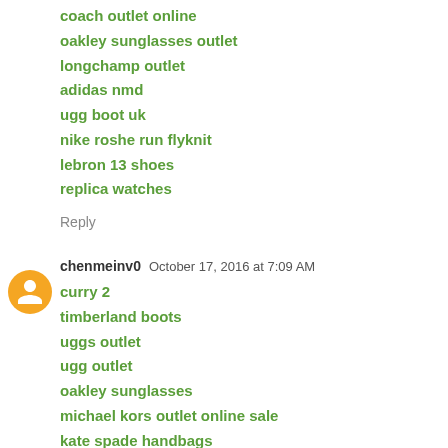coach outlet online
oakley sunglasses outlet
longchamp outlet
adidas nmd
ugg boot uk
nike roshe run flyknit
lebron 13 shoes
replica watches
Reply
chenmeinv0   October 17, 2016 at 7:09 AM
curry 2
timberland boots
uggs outlet
ugg outlet
oakley sunglasses
michael kors outlet online sale
kate spade handbags
supra shoes
adidas superstar shoes
ugg boots outlet